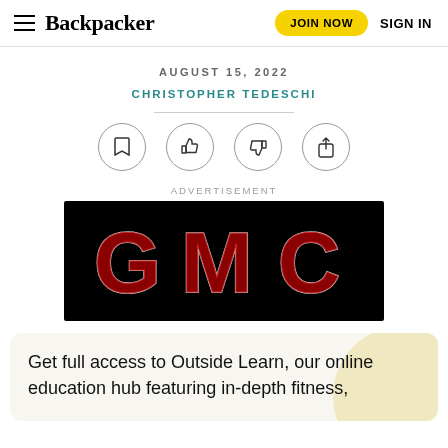Backpacker | JOIN NOW | SIGN IN
AUGUST 15, 2022
CHRISTOPHER TEDESCHI
[Figure (screenshot): Four circular icon buttons: bookmark, thumbs up, thumbs down, share]
ADVERTISEMENT
[Figure (logo): GMC logo in red metallic letters on black background]
Get full access to Outside Learn, our online education hub featuring in-depth fitness,